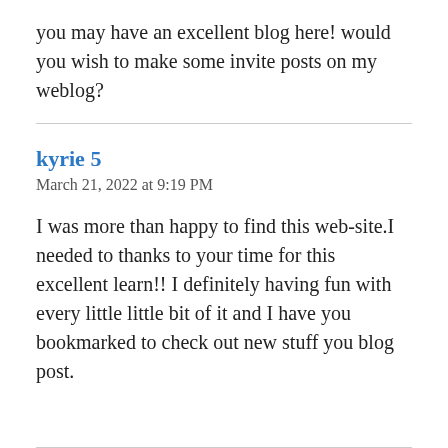you may have an excellent blog here! would you wish to make some invite posts on my weblog?
kyrie 5
March 21, 2022 at 9:19 PM
I was more than happy to find this web-site.I needed to thanks to your time for this excellent learn!! I definitely having fun with every little little bit of it and I have you bookmarked to check out new stuff you blog post.